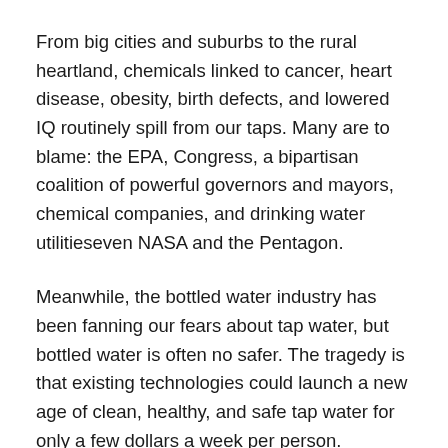From big cities and suburbs to the rural heartland, chemicals linked to cancer, heart disease, obesity, birth defects, and lowered IQ routinely spill from our taps. Many are to blame: the EPA, Congress, a bipartisan coalition of powerful governors and mayors, chemical companies, and drinking water utilitieseven NASA and the Pentagon.
Meanwhile, the bottled water industry has been fanning our fears about tap water, but bottled water is often no safer. The tragedy is that existing technologies could launch a new age of clean, healthy, and safe tap water for only a few dollars a week per person.
Scrupulously researched, Troubled Water is full of shocking stories about contaminated water found throughout the country and about the everyday heroes who have successfully forced changes in the quality and